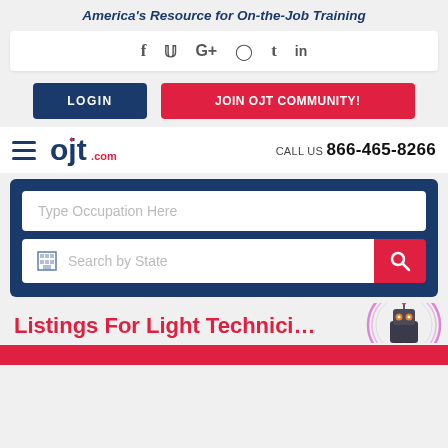America's Resource for On-the-Job Training
[Figure (screenshot): Social media icons row: Facebook (f), Twitter (bird), Google+ (G+), Instagram (camera), Tumblr (t), LinkedIn (in)]
[Figure (infographic): LOGIN button (dark blue) and JOIN OJT COMMUNITY! button (red)]
[Figure (logo): OJT.com logo with hamburger menu, and CALL US 866-465-8266 text]
[Figure (screenshot): Search box with 'Type Occupation Here' text field and 'Search by State' with building icon and red search button]
Listings For Light Technici...
[Figure (illustration): Robot mascot circular icon (OJT Bot)]